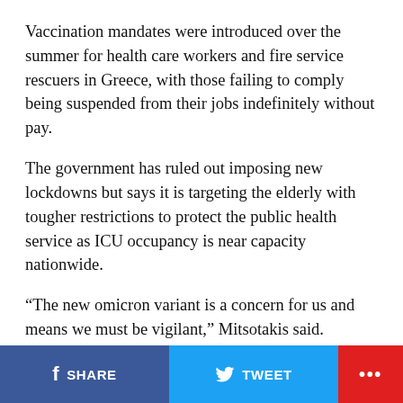Vaccination mandates were introduced over the summer for health care workers and fire service rescuers in Greece, with those failing to comply being suspended from their jobs indefinitely without pay.
The government has ruled out imposing new lockdowns but says it is targeting the elderly with tougher restrictions to protect the public health service as ICU occupancy is near capacity nationwide.
“The new omicron variant is a concern for us and means we must be vigilant,” Mitsotakis said.
“Unfortunately, of the 580,000 unvaccinated of our fellow citizens over the age of 60, only 60,000 set up appointments to get vaccinated in November,” he said.
“But it is singl…
SHARE   TWEET   ...